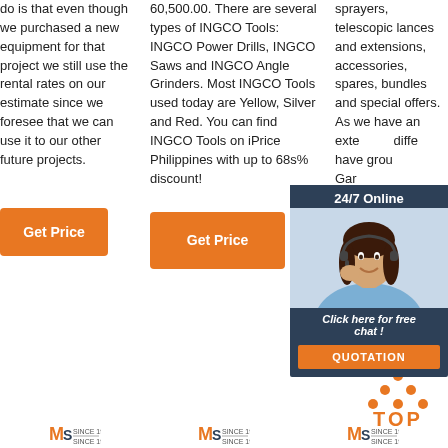do is that even though we purchased a new equipment for that project we still use the rental rates on our estimate since we foresee that we can use it to our other future projects.
60,500.00. There are several types of INGCO Tools: INGCO Power Drills, INGCO Saws and INGCO Angle Grinders. Most INGCO Tools used today are Yellow, Silver and Red. You can find INGCO Tools on iPrice Philippines with up to 68s% discount!
sprayers, telescopic lances and extensions, accessories, spares, bundles and special offers. As we have an extensive range in different groups, we have different product groups such as Garden and Professional, just
[Figure (photo): Customer service agent with headset, with dark overlay showing '24/7 Online' header, 'Click here for free chat!' text, QUOTATION orange button]
Get Price
Get Price
Get Price
[Figure (infographic): TOP button with orange dots above forming a triangle/arrow shape pointing up, orange dots and orange TOP text]